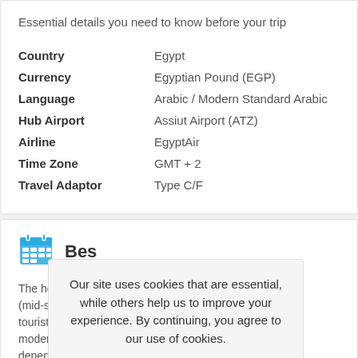Essential details you need to know before your trip
| Field | Value |
| --- | --- |
| Country | Egypt |
| Currency | Egyptian Pound (EGP) |
| Language | Arabic / Modern Standard Arabic |
| Hub Airport | Assiut Airport (ATZ) |
| Airline | EgyptAir |
| Time Zone | GMT + 2 |
| Travel Adaptor | Type C/F |
Bes…
The hottest (mid-spring tourists from moderate depends on your preferences. If you wish to avoid the
Our site uses cookies that are essential, while others help us to improve your experience. By continuing, you agree to our use of cookies.
Read our Cookie and Privacy Policy
Dismiss
Got it!